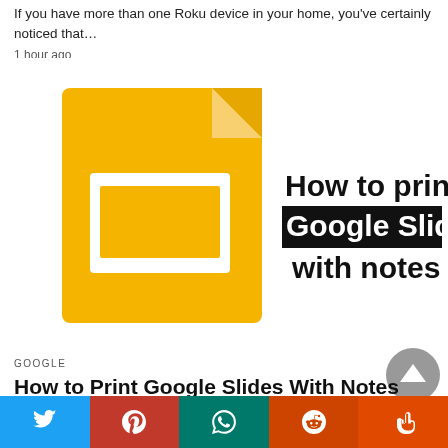If you have more than one Roku device in your home, you've certainly noticed that…
1 hour ago
[Figure (illustration): How to print Google Slides with notes — illustration with yellow Google Slides document icon on left and bold text on right]
GOOGLE
How to Print Google Slides With Notes
[Figure (other): Social share bar with Twitter, Pinterest, WhatsApp, Reddit, and StumbleUpon buttons]